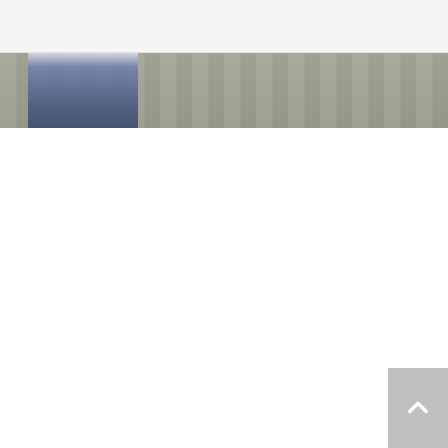Navigation bar with hamburger menu and social icons
[Figure (photo): Person wearing jeans standing in front of a wooden fence — hero/banner photo, partially visible]
[Figure (screenshot): Photobucket unavailable image placeholder box showing text 'Sorry.' and 'This Image Is currently Unavailable' with Photobucket logo in grey footer]
17 comments